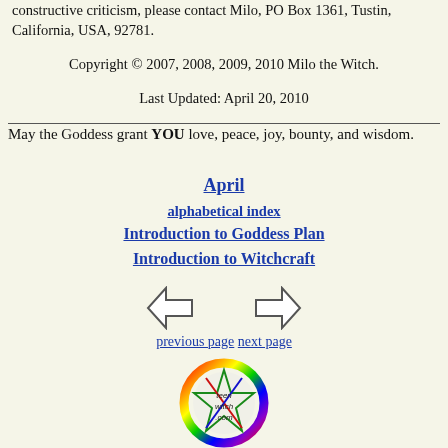constructive criticism, please contact Milo, PO Box 1361, Tustin, California, USA, 92781.
Copyright © 2007, 2008, 2009, 2010 Milo the Witch.
Last Updated: April 20, 2010
May the Goddess grant YOU love, peace, joy, bounty, and wisdom.
April
alphabetical index
Introduction to Goddess Plan
Introduction to Witchcraft
[Figure (other): Left and right arrow navigation icons]
previous page   next page
[Figure (logo): TeenWitch.com circular rainbow logo with pentagram star and text 'teen witch .com']
TeenWitch.com home page